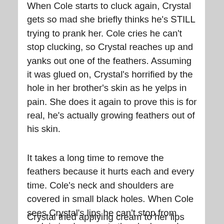When Cole starts to cluck again, Crystal gets so mad she briefly thinks he's STILL trying to prank her. Cole cries he can't stop clucking, so Crystal reaches up and yanks out one of the feathers. Assuming it was glued on, Crystal's horrified by the hole in her brother's skin as he yelps in pain. She does it again to prove this is for real, he's actually growing feathers out of his skin.
It takes a long time to remove the feathers because it hurts each and every time. Cole's neck and shoulders are covered in small black holes. When Cole sees Crystal's lips he can't stop from exclaiming how nasty they look, so she pulls the last two feathers out especially hard.
Crystal tried applying cream to her lips and the